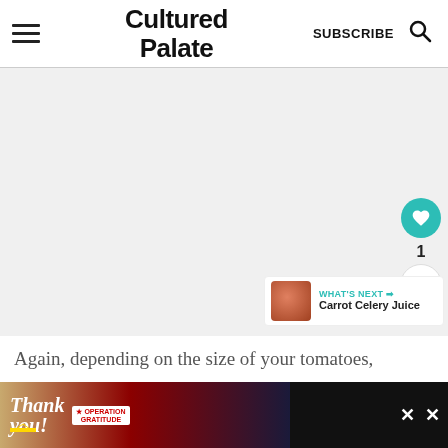Cultured Palate | SUBSCRIBE
[Figure (photo): Large blank/light gray image area taking up most of the page, with a circular teal heart/like button (1 like) and a share button on the right side, and a 'What's Next - Carrot Celery Juice' card in the bottom right]
Again, depending on the size of your tomatoes,
[Figure (screenshot): Dark advertisement bar at bottom with 'Thank you!' text over military/firefighter image and Operation Gratitude branding with close button]